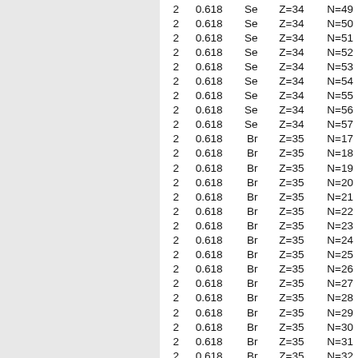|  |  |  |  |  |
| --- | --- | --- | --- | --- |
| 2 | 0.618 | Se | Z=34 | N=49 |
| 2 | 0.618 | Se | Z=34 | N=50 |
| 2 | 0.618 | Se | Z=34 | N=51 |
| 2 | 0.618 | Se | Z=34 | N=52 |
| 2 | 0.618 | Se | Z=34 | N=53 |
| 2 | 0.618 | Se | Z=34 | N=54 |
| 2 | 0.618 | Se | Z=34 | N=55 |
| 2 | 0.618 | Se | Z=34 | N=56 |
| 2 | 0.618 | Se | Z=34 | N=57 |
| 2 | 0.618 | Br | Z=35 | N=17 |
| 2 | 0.618 | Br | Z=35 | N=18 |
| 2 | 0.618 | Br | Z=35 | N=19 |
| 2 | 0.618 | Br | Z=35 | N=20 |
| 2 | 0.618 | Br | Z=35 | N=21 |
| 2 | 0.618 | Br | Z=35 | N=22 |
| 2 | 0.618 | Br | Z=35 | N=23 |
| 2 | 0.618 | Br | Z=35 | N=24 |
| 2 | 0.618 | Br | Z=35 | N=25 |
| 2 | 0.618 | Br | Z=35 | N=26 |
| 2 | 0.618 | Br | Z=35 | N=27 |
| 2 | 0.618 | Br | Z=35 | N=28 |
| 2 | 0.618 | Br | Z=35 | N=29 |
| 2 | 0.618 | Br | Z=35 | N=30 |
| 2 | 0.618 | Br | Z=35 | N=31 |
| 2 | 0.618 | Br | Z=35 | N=32 |